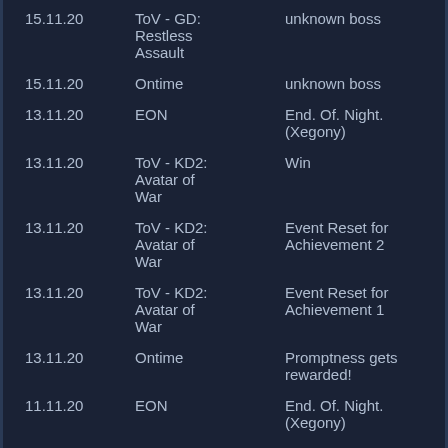| Date | Source | Event |
| --- | --- | --- |
| 15.11.20 | ToV - GD: Restless Assault | unknown boss |
| 15.11.20 | Ontime | unknown boss |
| 13.11.20 | EON | End. Of. Night. (Xegony) |
| 13.11.20 | ToV - KD2: Avatar of War | Win |
| 13.11.20 | ToV - KD2: Avatar of War | Event Reset for Achievement 2 |
| 13.11.20 | ToV - KD2: Avatar of War | Event Reset for Achievement 1 |
| 13.11.20 | Ontime | Promptness gets rewarded! |
| 11.11.20 | EON | End. Of. Night. (Xegony) |
| 11.11.20 | ToV - KD1: Vindicator | Win |